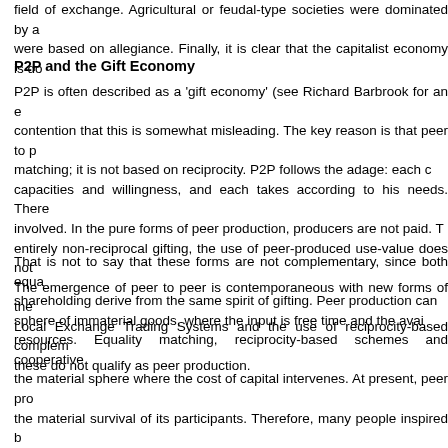field of exchange. Agricultural or feudal-type societies were dominated by a... were based on allegiance. Finally, it is clear that the capitalist economy is do...
P2P and the Gift Economy
P2P is often described as a 'gift economy' (see Richard Barbrook for an e... contention that this is somewhat misleading. The key reason is that peer to p... matching; it is not based on reciprocity. P2P follows the adage: each c... capacities and willingness, and each takes according to his needs. There... involved. In the pure forms of peer production, producers are not paid. T... entirely non-reciprocal gifting, the use of peer-produced use-value does not... The emergence of peer to peer is contemporaneous with new forms of the... Local Exchange Trading Systems and the use of reciprocity-based complem... these do not qualify as peer production.
That is not to say that these forms are not complementary, since both equa... shareholding derive from the same spirit of gifting. Peer production can... sphere of immaterial goods, where the input is free time and the avai... resources. Equality matching, reciprocity-based schemes and cooperative ... the material sphere where the cost of capital intervenes. At present, peer pro... the material survival of its participants. Therefore, many people inspired b... resort to cooperative production, the social economy, and other schemes fro... income, while at the same time honoring their values. In this sense, these sc...